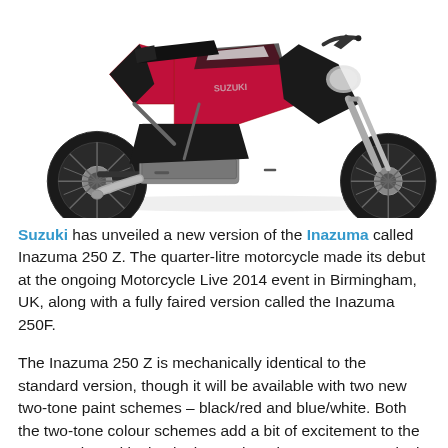[Figure (photo): A red and black Suzuki Inazuma 250Z motorcycle shown in profile view against a white background.]
Suzuki has unveiled a new version of the Inazuma called Inazuma 250 Z. The quarter-litre motorcycle made its debut at the ongoing Motorcycle Live 2014 event in Birmingham, UK, along with a fully faired version called the Inazuma 250F.
The Inazuma 250 Z is mechanically identical to the standard version, though it will be available with two new two-tone paint schemes – black/red and blue/white. Both the two-tone colour schemes add a bit of excitement to the motorcycle and look a lot better than the monotonous single colour paint jobs, which the standard version is offered with. The Inazuma